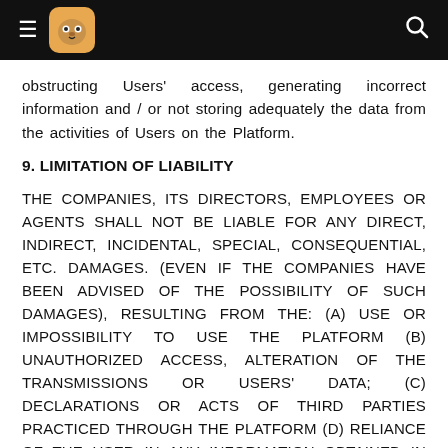≡ [logo] 🔍
obstructing Users' access, generating incorrect information and / or not storing adequately the data from the activities of Users on the Platform.
9. LIMITATION OF LIABILITY
THE COMPANIES, ITS DIRECTORS, EMPLOYEES OR AGENTS SHALL NOT BE LIABLE FOR ANY DIRECT, INDIRECT, INCIDENTAL, SPECIAL, CONSEQUENTIAL, ETC. DAMAGES. (EVEN IF THE COMPANIES HAVE BEEN ADVISED OF THE POSSIBILITY OF SUCH DAMAGES), RESULTING FROM THE: (A) USE OR IMPOSSIBILITY TO USE THE PLATFORM (B) UNAUTHORIZED ACCESS, ALTERATION OF THE TRANSMISSIONS OR USERS' DATA; (C) DECLARATIONS OR ACTS OF THIRD PARTIES PRACTICED THROUGH THE PLATFORM (D) RELIANCE OF THE USER IN ANY INFORMATION OBTAINED IN THE PLATFORM, OR RESULTING FROM MISTAKES